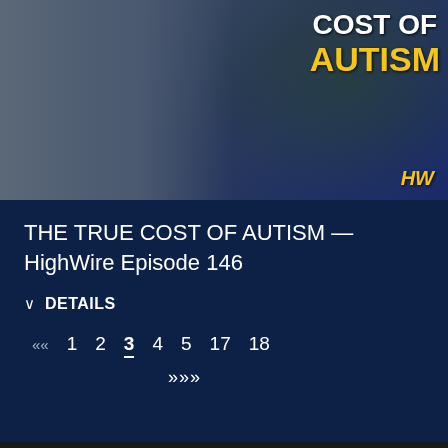[Figure (screenshot): Video thumbnail showing a man with a beard gesturing with both hands, with text overlay reading 'COST OF AUTISM' and money flying in the background. HW logo visible in bottom right.]
THE TRUE COST OF AUTISM — HighWire Episode 146
DETAILS
« 1 2 3 4 5 17 18 »